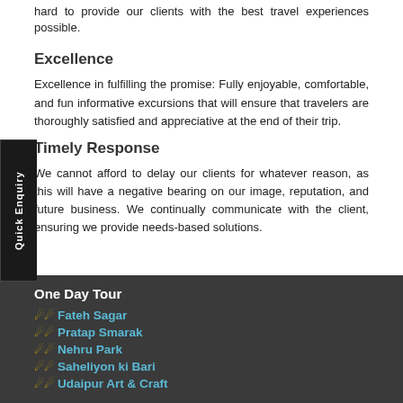hard to provide our clients with the best travel experiences possible.
Excellence
Excellence in fulfilling the promise: Fully enjoyable, comfortable, and fun informative excursions that will ensure that travelers are thoroughly satisfied and appreciative at the end of their trip.
Timely Response
We cannot afford to delay our clients for whatever reason, as this will have a negative bearing on our image, reputation, and future business. We continually communicate with the client, ensuring we provide needs-based solutions.
One Day Tour
Fateh Sagar
Pratap Smarak
Nehru Park
Saheliyon ki Bari
Udaipur Art & Craft